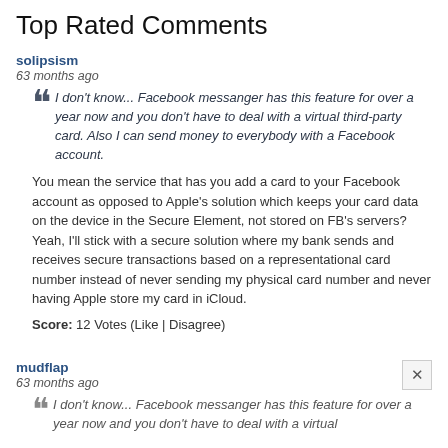Top Rated Comments
solipsism
63 months ago
I don't know... Facebook messanger has this feature for over a year now and you don't have to deal with a virtual third-party card. Also I can send money to everybody with a Facebook account.
You mean the service that has you add a card to your Facebook account as opposed to Apple's solution which keeps your card data on the device in the Secure Element, not stored on FB's servers? Yeah, I'll stick with a secure solution where my bank sends and receives secure transactions based on a representational card number instead of never sending my physical card number and never having Apple store my card in iCloud.
Score: 12 Votes (Like | Disagree)
mudflap
63 months ago
I don't know... Facebook messanger has this feature for over a year now and you don't have to deal with a virtual